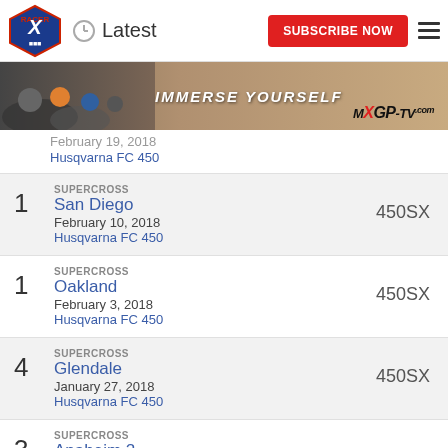Latest | SUBSCRIBE NOW
[Figure (photo): MXGP-TV.com banner with motocross riders and text IMMERSE YOURSELF]
February 19, 2018 | Husqvarna FC 450
1 | SUPERCROSS | San Diego | February 10, 2018 | Husqvarna FC 450 | 450SX
1 | SUPERCROSS | Oakland | February 3, 2018 | Husqvarna FC 450 | 450SX
4 | SUPERCROSS | Glendale | January 27, 2018 | Husqvarna FC 450 | 450SX
3 | SUPERCROSS | Anaheim 2 | 450SX